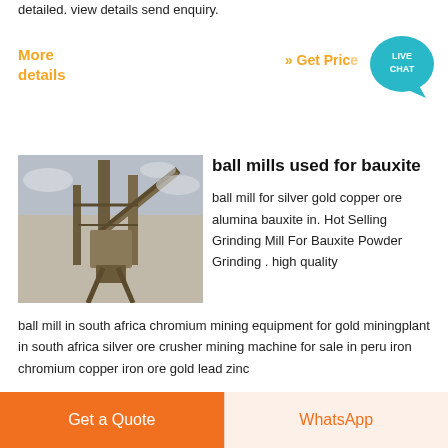detailed. view details send enquiry.
More details
» Get Price
[Figure (illustration): Live Chat badge — teal speech bubble with 'LIVE CHAT' text]
ball mills used for bauxite
[Figure (photo): Industrial mining conveyor or ball mill equipment photographed outdoors against cloudy sky]
ball mill for silver gold copper ore alumina bauxite in. Hot Selling Grinding Mill For Bauxite Powder Grinding . high quality ball mill in south africa chromium mining equipment for gold miningplant in south africa silver ore crusher mining machine for sale in peru iron chromium copper iron ore gold lead zinc
Get a Quote
WhatsApp